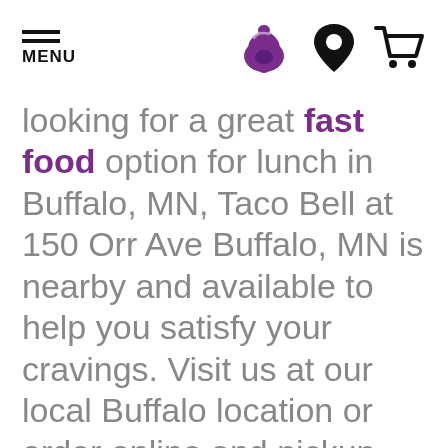MENU [Taco Bell logo] [Location icon] [Cart icon]
looking for a great fast food option for lunch in Buffalo, MN, Taco Bell at 150 Orr Ave Buffalo, MN is nearby and available to help you satisfy your cravings. Visit us at our local Buffalo location or order online and pickup later. Make sure to